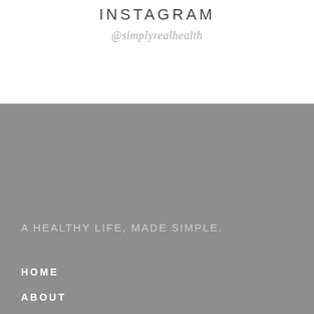INSTAGRAM
@simplyrealhealth
A HEALTHY LIFE, MADE SIMPLE.
HOME
ABOUT
Philosophy
Word on the Street
BLOG
THE COOKBOOKS